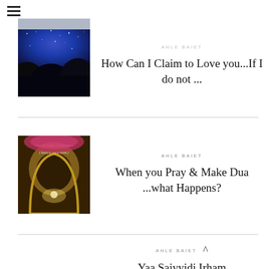[Figure (screenshot): Website header with hamburger menu icon (three horizontal lines) at top left]
[Figure (photo): Night sky photo with blue starry sky and dark trees silhouette]
AHLE BAIET
How Can I Claim to Love you...If I do not ...
[Figure (photo): Photo of a shrine or mosque interior with golden archway and candlelight, text overlay reading 'Hazrat Zalen ul Abideen (Radiyat Lank Anha)']
AHLE BAIET
When you Pray & Make Dua ...what Happens?
[Figure (photo): Photo of palm trees silhouetted against pink/magenta dusk sky]
AHLE BAIET
Yaa Saiyyidi Irham